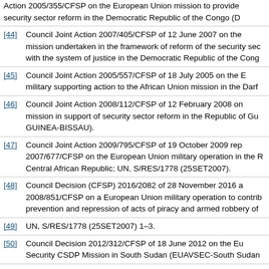Action 2005/355/CFSP on the European Union mission to provide security sector reform in the Democratic Republic of the Congo (D
[44] Council Joint Action 2007/405/CFSP of 12 June 2007 on the mission undertaken in the framework of reform of the security sec with the system of justice in the Democratic Republic of the Cong
[45] Council Joint Action 2005/557/CFSP of 18 July 2005 on the E military supporting action to the African Union mission in the Darf
[46] Council Joint Action 2008/112/CFSP of 12 February 2008 on mission in support of security sector reform in the Republic of Gu GUINEA-BISSAU).
[47] Council Joint Action 2009/795/CFSP of 19 October 2009 rep 2007/677/CFSP on the European Union military operation in the R Central African Republic; UN, S/RES/1778 (25SET2007).
[48] Council Decision (CFSP) 2016/2082 of 28 November 2016 a 2008/851/CFSP on a European Union military operation to contrib prevention and repression of acts of piracy and armed robbery of
[49] UN, S/RES/1778 (25SET2007) 1–3.
[50] Council Decision 2012/312/CFSP of 18 June 2012 on the Eu Security CSDP Mission in South Sudan (EUAVSEC-South Sudan